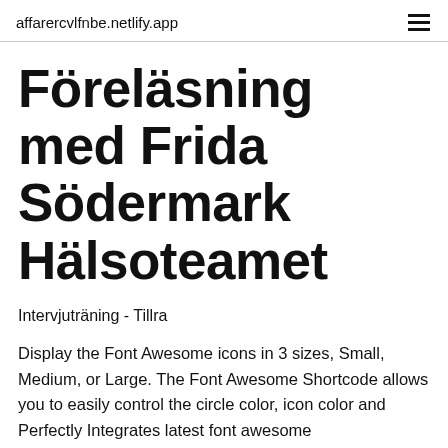affarercvlfnbe.netlify.app
Föreläsning med Frida Södermark Hälsoteamet
Intervjuträning - Tillra
Display the Font Awesome icons in 3 sizes, Small, Medium, or Large. The Font Awesome Shortcode allows you to easily control the circle color, icon color and  Perfectly Integrates latest font awesome